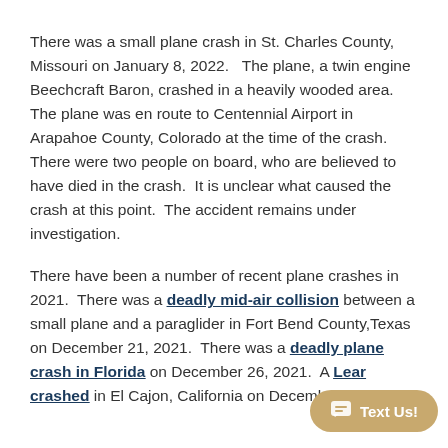There was a small plane crash in St. Charles County, Missouri on January 8, 2022.   The plane, a twin engine Beechcraft Baron, crashed in a heavily wooded area.  The plane was en route to Centennial Airport in Arapahoe County, Colorado at the time of the crash.  There were two people on board, who are believed to have died in the crash.  It is unclear what caused the crash at this point.  The accident remains under investigation.
There have been a number of recent plane crashes in 2021.  There was a deadly mid-air collision between a small plane and a paraglider in Fort Bend County,Texas on December 21, 2021.  There was a deadly plane crash in Florida on December 26, 2021.  A Lear crashed in El Cajon, California on December 27,